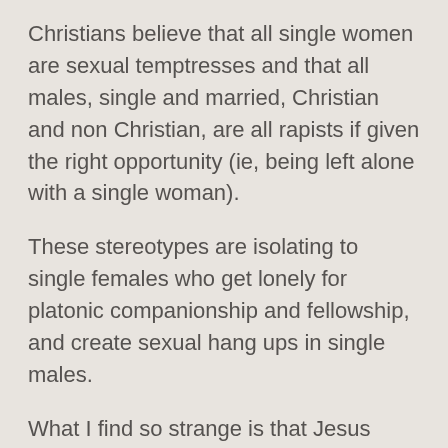Christians believe that all single women are sexual temptresses and that all males, single and married, Christian and non Christian, are all rapists if given the right opportunity (ie, being left alone with a single woman).
These stereotypes are isolating to single females who get lonely for platonic companionship and fellowship, and create sexual hang ups in single males.
What I find so strange is that Jesus Christ is recorded in the New Testament as meeting alone (or sometimes in groups) with KNOWN prostitutes, or with women of known sexual histories, shall we say, such as the woman at the